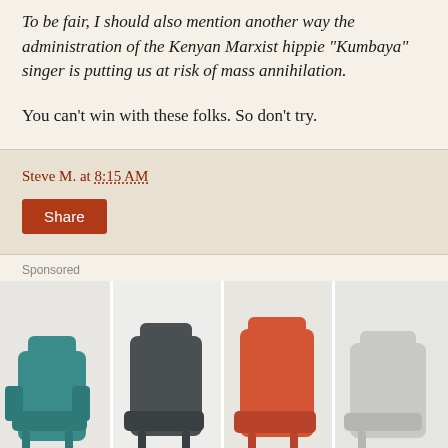To be fair, I should also mention another way the administration of the Kenyan Marxist hippie "Kumbaya" singer is putting us at risk of mass annihilation.
You can't win with these folks. So don't try.
Steve M. at 8:15 AM
Share
Sponsored
[Figure (photo): Advertisement showing four lounge chairs in different colors (teal, dark gray, orange/rust, light gray) against a white background, partially cropped at bottom.]